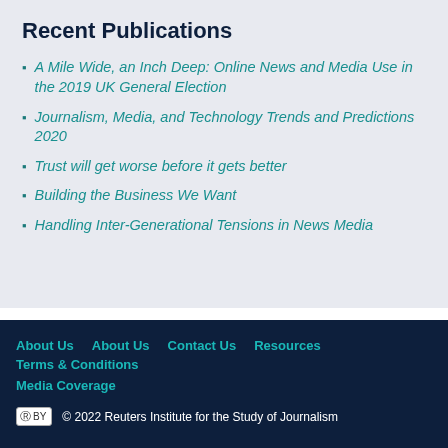Recent Publications
A Mile Wide, an Inch Deep: Online News and Media Use in the 2019 UK General Election
Journalism, Media, and Technology Trends and Predictions 2020
Trust will get worse before it gets better
Building the Business We Want
Handling Inter-Generational Tensions in News Media
About Us   About Us   Contact Us   Resources   Terms & Conditions   Media Coverage   © 2022 Reuters Institute for the Study of Journalism